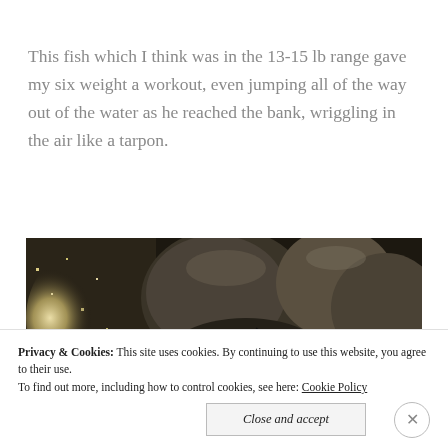This fish which I think was in the 13-15 lb range gave my six weight a workout, even jumping all of the way out of the water as he reached the bank, wriggling in the air like a tarpon.
[Figure (photo): Photo of rocks and water with sunlight reflections, dark rocky riverbank scene]
Privacy & Cookies: This site uses cookies. By continuing to use this website, you agree to their use. To find out more, including how to control cookies, see here: Cookie Policy